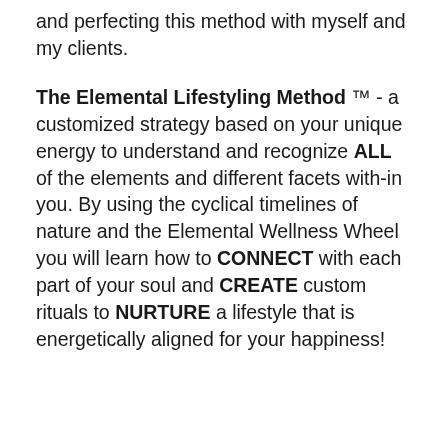and perfecting this method with myself and my clients.
The Elemental Lifestyling Method ™ - a customized strategy based on your unique energy to understand and recognize ALL of the elements and different facets with-in you. By using the cyclical timelines of nature and the Elemental Wellness Wheel you will learn how to CONNECT with each part of your soul and CREATE custom rituals to NURTURE a lifestyle that is energetically aligned for your happiness!